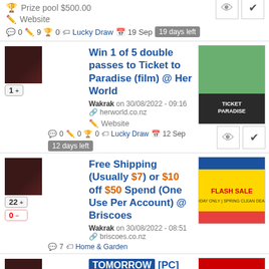Prize pool $500.00
Website
0  9  0  Lucky Draw  19 Sep  19 days left
Win 1 of 5 double passes to Ticket to Paradise (film) @ Her World
Wakrak on 30/08/2022 - 09:16  herworld.co.nz
Website
0  0  0  Lucky Draw  12 Sep  12 days left
Free Shipping (Usually $7) or $10 off $50 Spend (One Use Per Account) @ Briscoes
Wakrak on 30/08/2022 - 08:51  briscoes.co.nz
7  Home & Garden
TOMORROW [PC] Free - Mafia (Was $21.9...) @ Steam
Wakrak on 30/08/2022 - 05:...